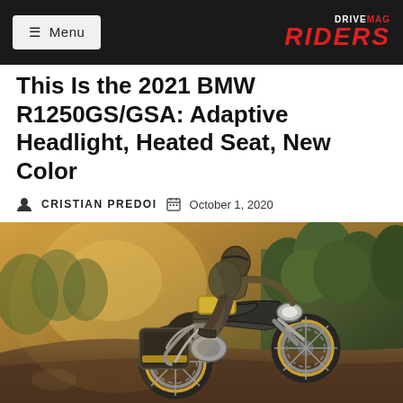≡ Menu | DRIVEMAG RIDERS
This Is the 2021 BMW R1250GS/GSA: Adaptive Headlight, Heated Seat, New Color
CRISTIAN PREDOI  October 1, 2020
[Figure (photo): A rider on a BMW R1250GS adventure motorcycle performing a wheelie or climbing steep terrain on a dirt trail, surrounded by trees and golden warm light. The motorcycle is heavily loaded with luggage and accessories.]